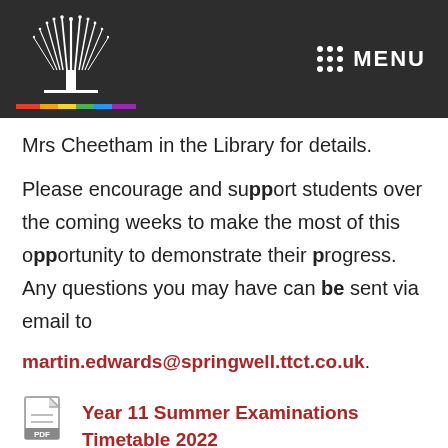[Figure (logo): School logo with white tree/fountain graphic and multicolor bar, on dark background, with MENU text and dots grid]
Mrs Cheetham in the Library for details.
Please encourage and support students over the coming weeks to make the most of this opportunity to demonstrate their progress.  Any questions you may have can be sent via email to martin.edwards@springwell.ttct.co.uk.
[Figure (other): PDF file icon]
Year 11 Summer Examinations Timetable 2022